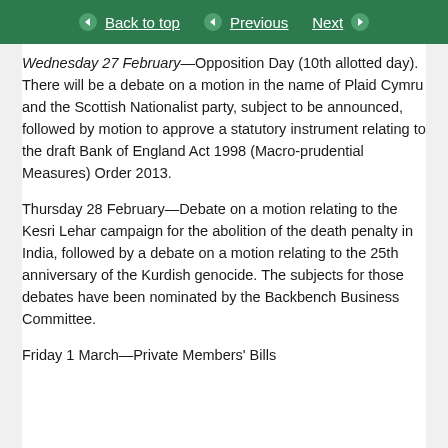Back to top | Previous | Next
Wednesday 27 February—Opposition Day (10th allotted day). There will be a debate on a motion in the name of Plaid Cymru and the Scottish Nationalist party, subject to be announced, followed by motion to approve a statutory instrument relating to the draft Bank of England Act 1998 (Macro-prudential Measures) Order 2013.
Thursday 28 February—Debate on a motion relating to the Kesri Lehar campaign for the abolition of the death penalty in India, followed by a debate on a motion relating to the 25th anniversary of the Kurdish genocide. The subjects for those debates have been nominated by the Backbench Business Committee.
Friday 1 March—Private Members' Bills